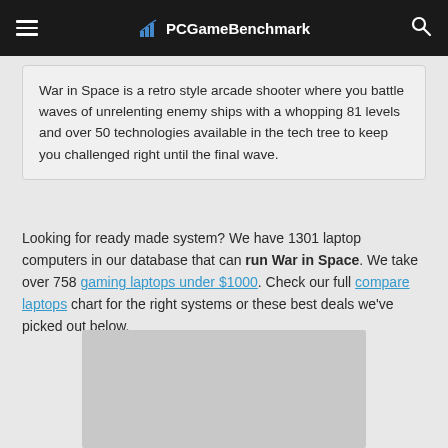PCGameBenchmark
War in Space is a retro style arcade shooter where you battle waves of unrelenting enemy ships with a whopping 81 levels and over 50 technologies available in the tech tree to keep you challenged right until the final wave.
Looking for ready made system? We have 1301 laptop computers in our database that can run War in Space. We take over 758 gaming laptops under $1000. Check our full compare laptops chart for the right systems or these best deals we've picked out below.
[Figure (other): Advertisement placeholder gray box]